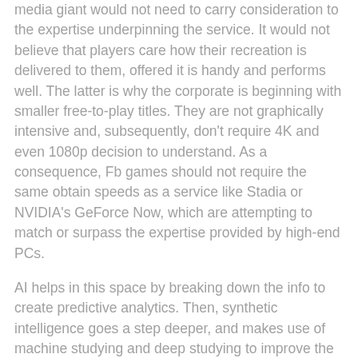Google, Microsoft, Amazon and Amazon. The social media giant would not need to carry consideration to the expertise underpinning the service. It would not believe that players care how their recreation is delivered to them, offered it is handy and performs well. The latter is why the corporate is beginning with smaller free-to-play titles. They are not graphically intensive and, subsequently, don't require 4K and even 1080p decision to understand. As a consequence, Fb games should not require the same obtain speeds as a service like Stadia or NVIDIA's GeForce Now, which are attempting to match or surpass the expertise provided by high-end PCs.
AI helps in this space by breaking down the info to create predictive analytics. Then, synthetic intelligence goes a step deeper, and makes use of machine studying and deep studying to improve the predictive analytics. This will enable companies to present their prospects the exact experience they've been in search of.